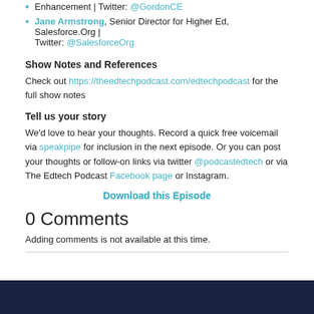Dr. Sally Gordon, Director, ICE Each County Education Enhancement | Twitter: @GordonCE
Jane Armstrong, Senior Director for Higher Ed, Salesforce.Org | Twitter: @SalesforceOrg
Show Notes and References
Check out https://theedtechpodcast.com/edtechpodcast for the full show notes
Tell us your story
We'd love to hear your thoughts. Record a quick free voicemail via speakpipe for inclusion in the next episode. Or you can post your thoughts or follow-on links via twitter @podcastedtech or via The Edtech Podcast Facebook page or Instagram.
Download this Episode
0 Comments
Adding comments is not available at this time.